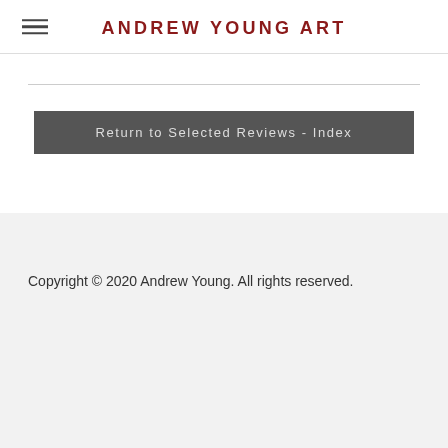ANDREW YOUNG ART
Return to Selected Reviews - Index
Copyright © 2020 Andrew Young. All rights reserved.